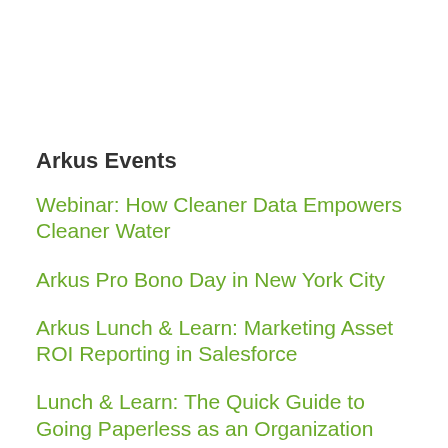Arkus Events
Webinar: How Cleaner Data Empowers Cleaner Water
Arkus Pro Bono Day in New York City
Arkus Lunch & Learn: Marketing Asset ROI Reporting in Salesforce
Lunch & Learn: The Quick Guide to Going Paperless as an Organization